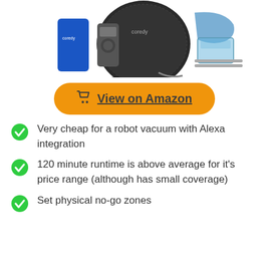[Figure (photo): Product photo of a Coredy robot vacuum with accessories including a smartphone app, remote control, mop attachment, and water tank]
View on Amazon
Very cheap for a robot vacuum with Alexa integration
120 minute runtime is above average for it's price range (although has small coverage)
Set physical no-go zones